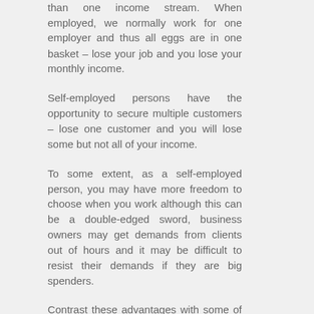than one income stream. When employed, we normally work for one employer and thus all eggs are in one basket – lose your job and you lose your monthly income.
Self-employed persons have the opportunity to secure multiple customers – lose one customer and you will lose some but not all of your income.
To some extent, as a self-employed person, you may have more freedom to choose when you work although this can be a double-edged sword, business owners may get demands from clients out of hours and it may be difficult to resist their demands if they are big spenders.
Contrast these advantages with some of the less advantageous demands that may be made if you become self-employed.
The disadvantages: